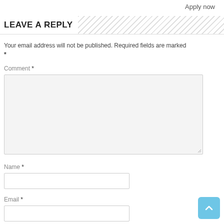Apply now
LEAVE A REPLY
Your email address will not be published. Required fields are marked *
Comment *
Name *
Email *
Website